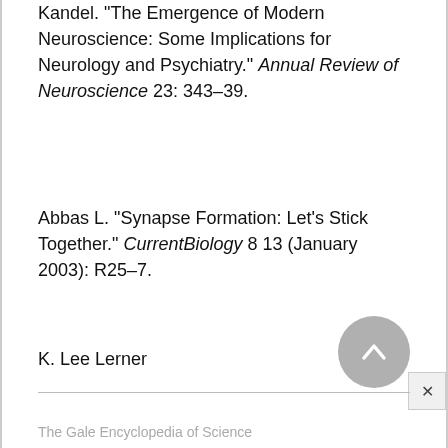Kandel. "The Emergence of Modern Neuroscience: Some Implications for Neurology and Psychiatry." Annual Review of Neuroscience 23: 343–39.
Abbas L. "Synapse Formation: Let's Stick Together." CurrentBiology 8 13 (January 2003): R25–7.
K. Lee Lerner
The Gale Encyclopedia of Science